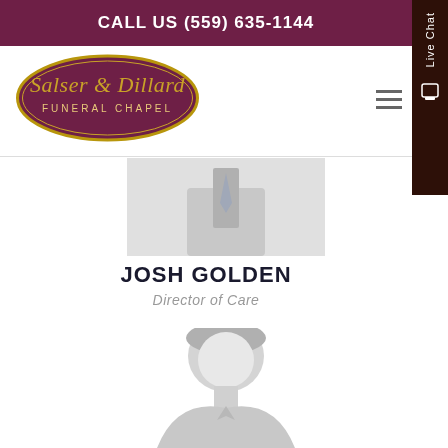CALL US (559) 635-1144
[Figure (logo): Salser & Dillard Funeral Chapel oval logo with gold border on white background]
[Figure (photo): Partial photo of a man in a suit and tie, upper portion cut off at top of page]
JOSH GOLDEN
Director of Care
[Figure (photo): Grayscale/faded silhouette-style portrait photo of Josh Golden, a man with dark hair in a suit]